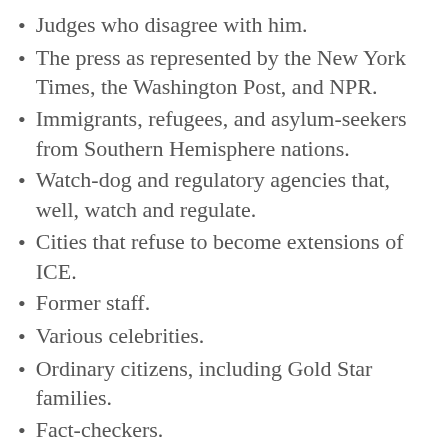Judges who disagree with him.
The press as represented by the New York Times, the Washington Post, and NPR.
Immigrants, refugees, and asylum-seekers from Southern Hemisphere nations.
Watch-dog and regulatory agencies that, well, watch and regulate.
Cities that refuse to become extensions of ICE.
Former staff.
Various celebrities.
Ordinary citizens, including Gold Star families.
Fact-checkers.
Decorated veterans and career civil servants.